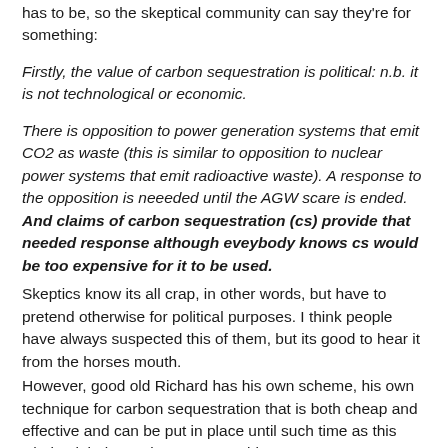has to be, so the skeptical community can say they're for something:
Firstly, the value of carbon sequestration is political: n.b. it is not technological or economic.
There is opposition to power generation systems that emit CO2 as waste (this is similar to opposition to nuclear power systems that emit radioactive waste). A response to the opposition is neeeded until the AGW scare is ended. And claims of carbon sequestration (cs) provide that needed response although eveybody knows cs would be too expensive for it to be used.
Skeptics know its all crap, in other words, but have to pretend otherwise for political purposes. I think people have always suspected this of them, but its good to hear it from the horses mouth.
However, good old Richard has his own scheme, his own technique for carbon sequestration that is both cheap and effective and can be put in place until such time as this whole global warming nonsense blows over:
You bet the environmental question is first to be examined when